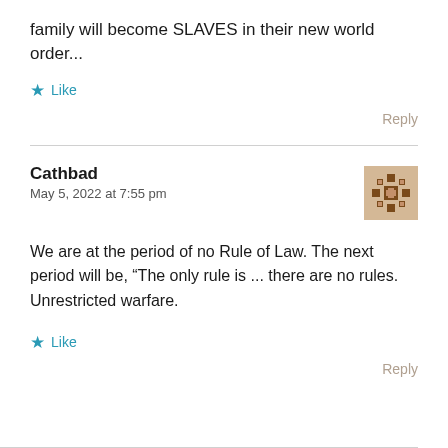family will become SLAVES in their new world order...
★ Like
Reply
Cathbad
May 5, 2022 at 7:55 pm
[Figure (illustration): User avatar: decorative pattern with brown geometric cross/snowflake-like design on tan background]
We are at the period of no Rule of Law. The next period will be, “The only rule is ... there are no rules. Unrestricted warfare.
★ Like
Reply